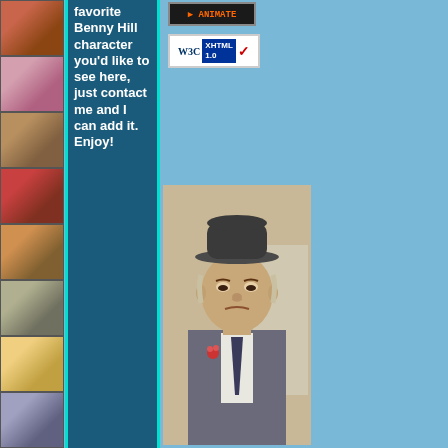[Figure (photo): Left column strip of 8 small photos of Benny Hill characters and cast members]
favorite Benny Hill character you'd like to see here, just contact me and I can add it. Enjoy!
[Figure (logo): Animation/website badge - dark background with orange text]
[Figure (logo): W3C XHTML 1.0 validation badge]
[Figure (photo): Benny Hill in bowler hat and suit with flower, main character photo]